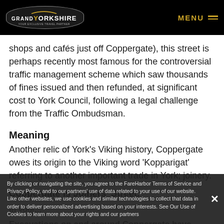GRAND YORKSHIRE | MENU
shops and cafés just off Coppergate), this street is perhaps recently most famous for the controversial traffic management scheme which saw thousands of fines issued and then refunded, at significant cost to York Council, following a legal challenge from the Traffic Ombudsman.
Meaning
Another relic of York's Viking history, Coppergate owes its origin to the Viking word 'Kopparigat' referring to another important trade in York; joinery.
Coppergate is Joiners' Street.
Excavations on and around Coppergate have yielding world-
By clicking or navigating the site, you agree to the FareHarbor Terms of Service and Privacy Policy, and to our partners' use of data related to your use of our website. Like other websites, we use cookies and similar technologies to collect that data in order to deliver personalized advertising based on your interests. See Our Use of Cookies to learn more about your rights and our partners